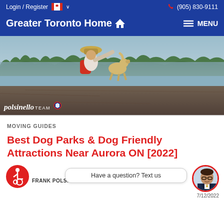Login / Register  🍁  ∨     (905) 830-9111
Greater Toronto Home 🏠   ≡ MENU
[Figure (photo): Person with red backpack and hat sitting on rocks by a lake, feeding or petting a golden dog, with trees visible in background. Watermark reads 'polsinello TEAM' with RE/MAX logo.]
MOVING GUIDES
Best Dog Parks & Dog Friendly Attractions Near Aurora ON [2022]
Have a question? Text us
FRANK POLSINELLO
7/12/2022